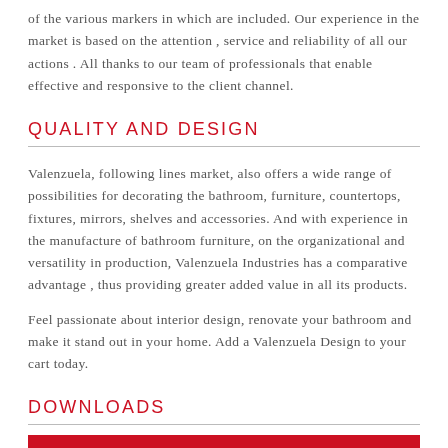of the various markers in which are included. Our experience in the market is based on the attention , service and reliability of all our actions . All thanks to our team of professionals that enable effective and responsive to the client channel.
QUALITY AND DESIGN
Valenzuela, following lines market, also offers a wide range of possibilities for decorating the bathroom, furniture, countertops, fixtures, mirrors, shelves and accessories. And with experience in the manufacture of bathroom furniture, on the organizational and versatility in production, Valenzuela Industries has a comparative advantage , thus providing greater added value in all its products.
Feel passionate about interior design, renovate your bathroom and make it stand out in your home. Add a Valenzuela Design to your cart today.
DOWNLOADS
PDF BROCHURE